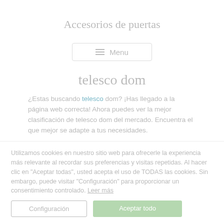Accesorios de puertas
≡ Menu
telesco dom
¿Estas buscando telesco dom? ¡Has llegado a la página web correcta! Ahora puedes ver la mejor clasificación de telesco dom del mercado. Encuentra el que mejor se adapte a tus necesidades.
Utilizamos cookies en nuestro sitio web para ofrecerle la experiencia más relevante al recordar sus preferencias y visitas repetidas. Al hacer clic en "Aceptar todas", usted acepta el uso de TODAS las cookies. Sin embargo, puede visitar "Configuración" para proporcionar un consentimiento controlado. Leer más
Configuración
Aceptar todo